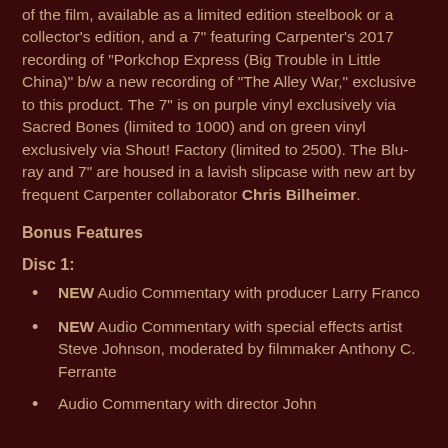of the film, available as a limited edition steelbook or a collector's edition, and a 7" featuring Carpenter's 2017 recording of "Porkchop Express (Big Trouble in Little China)" b/w a new recording of "The Alley War," exclusive to this product. The 7" is on purple vinyl exclusively via Sacred Bones (limited to 1000) and on green vinyl exclusively via Shout! Factory (limited to 2500). The Blu-ray and 7" are housed in a lavish slipcase with new art by frequent Carpenter collaborator Chris Bilheimer.
Bonus Features
Disc 1:
NEW Audio Commentary with producer Larry Franco
NEW Audio Commentary with special effects artist Steve Johnson, moderated by filmmaker Anthony C. Ferrante
Audio Commentary with director John